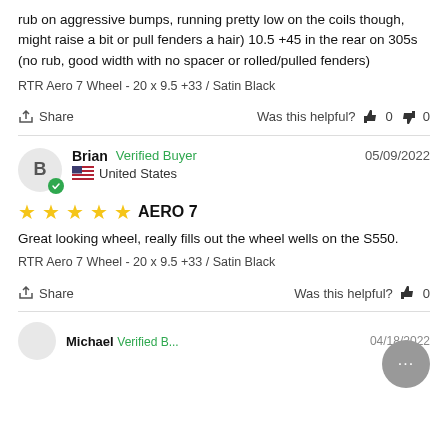rub on aggressive bumps, running pretty low on the coils though, might raise a bit or pull fenders a hair) 10.5 +45 in the rear on 305s (no rub, good width with no spacer or rolled/pulled fenders)
RTR Aero 7 Wheel - 20 x 9.5 +33 / Satin Black
Share    Was this helpful?  👍 0  👎 0
Brian  Verified Buyer    05/09/2022
United States
★★★★★  AERO 7
Great looking wheel, really fills out the wheel wells on the S550.
RTR Aero 7 Wheel - 20 x 9.5 +33 / Satin Black
Share    Was this helpful?  👍  0
Michael  Verified B...   04/18/2022